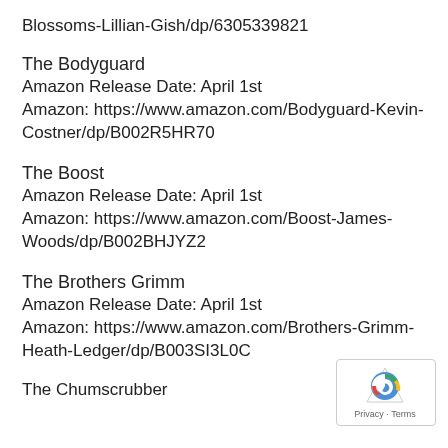Blossoms-Lillian-Gish/dp/6305339821
The Bodyguard
Amazon Release Date: April 1st
Amazon: https://www.amazon.com/Bodyguard-Kevin-Costner/dp/B002R5HR70
The Boost
Amazon Release Date: April 1st
Amazon: https://www.amazon.com/Boost-James-Woods/dp/B002BHJYZ2
The Brothers Grimm
Amazon Release Date: April 1st
Amazon: https://www.amazon.com/Brothers-Grimm-Heath-Ledger/dp/B003SI3L0C
The Chumscrubber